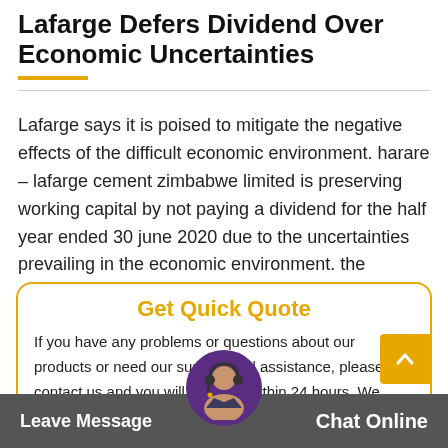Lafarge Defers Dividend Over Economic Uncertainties
Lafarge says it is poised to mitigate the negative effects of the difficult economic environment. harare – lafarge cement zimbabwe limited is preserving working capital by not paying a dividend for the half year ended 30 june 2020 due to the uncertainties prevailing in the economic environment. the company which reported a 27 increase in.
Get Quick Quote
If you have any problems or questions about our products or need our support and assistance, please contact us and you will b d within 24 hours. We er re r inform third party. Thank you!